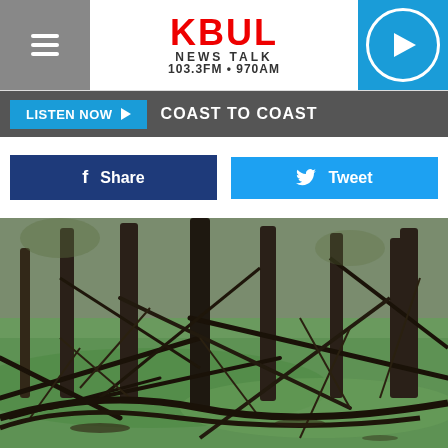KBUL NEWS TALK 103.3FM • 970AM
LISTEN NOW ▶  COAST TO COAST
f Share
Tweet
[Figure (photo): A swampy wetland scene with dark bare trees standing in green algae-covered water, with tangled fallen branches in the foreground]